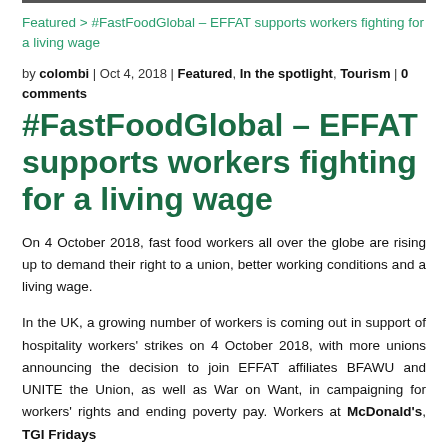Featured > #FastFoodGlobal – EFFAT supports workers fighting for a living wage
by colombi | Oct 4, 2018 | Featured, In the spotlight, Tourism | 0 comments
#FastFoodGlobal – EFFAT supports workers fighting for a living wage
On 4 October 2018, fast food workers all over the globe are rising up to demand their right to a union, better working conditions and a living wage.
In the UK, a growing number of workers is coming out in support of hospitality workers' strikes on 4 October 2018, with more unions announcing the decision to join EFFAT affiliates BFAWU and UNITE the Union, as well as War on Want, in campaigning for workers' rights and ending poverty pay. Workers at McDonald's, TGI Fridays